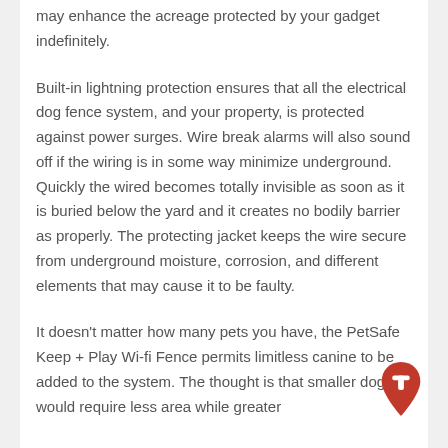may enhance the acreage protected by your gadget indefinitely.
Built-in lightning protection ensures that all the electrical dog fence system, and your property, is protected against power surges. Wire break alarms will also sound off if the wiring is in some way minimize underground. Quickly the wired becomes totally invisible as soon as it is buried below the yard and it creates no bodily barrier as properly. The protecting jacket keeps the wire secure from underground moisture, corrosion, and different elements that may cause it to be faulty.
It doesn't matter how many pets you have, the PetSafe Keep + Play Wi-fi Fence permits limitless canine to be added to the system. The thought is that smaller dogs would require less area while greater